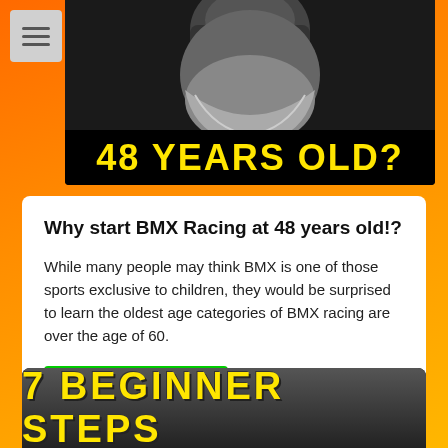[Figure (photo): Black and white photo of an older man with white beard wearing sunglasses, with yellow text overlay reading '48 YEARS OLD?']
Why start BMX Racing at 48 years old!?
While many people may think BMX is one of those sports exclusive to children, they would be surprised to learn the oldest age categories of BMX racing are over the age of 60.
WATCH VIDEO
[Figure (photo): Black and white image with bold yellow text reading '7 BEGINNER STEPS']